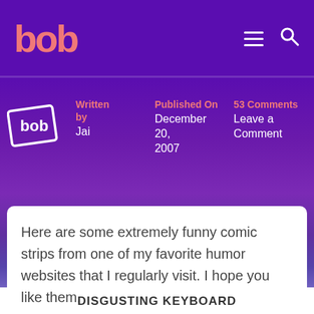bob — Written by Jai | Published On December 20, 2007 | 53 Comments | Leave a Comment
Here are some extremely funny comic strips from one of my favorite humor websites that I regularly visit. I hope you like them.
DISGUSTING KEYBOARD